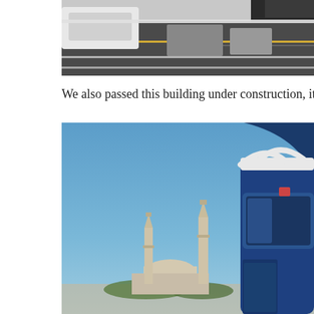[Figure (photo): Photo taken from a vehicle on a highway showing road lanes with vehicles, viewed from inside a bus or car. Partial view of vehicles on a multi-lane road with road markings visible.]
We also passed this building under construction, it will be the M
[Figure (photo): Photo showing a mosque with two minarets and a dome under a clear blue sky, viewed from a bus window. The right side of the frame shows the roof and window of a blue-and-white bus.]